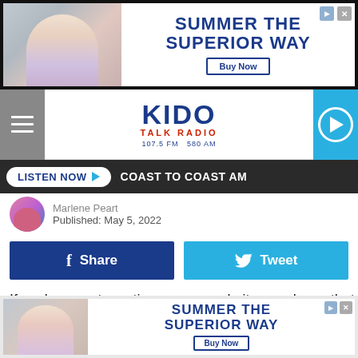[Figure (screenshot): Top advertisement banner: Summer The Superior Way with Buy Now button]
[Figure (logo): KIDO Talk Radio 107.5 FM 580 AM navigation bar with hamburger menu and play button]
LISTEN NOW ▶  COAST TO COAST AM
Published: May 5, 2022
Share
Tweet
If you've spent any time on our website, you know that Boise is no stranger to appearing on reality TV shows obsessed with our food scene. Both Diners, Drive-Ins and Dives and Man v. Food have shot episodes in Idaho's capital city. Are we about to see another TV crew setting up to shoot in the Treasure Valley?
[Figure (screenshot): Bottom advertisement banner: Summer The Superior Way with Buy Now button]